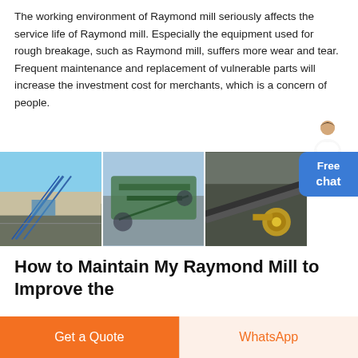The working environment of Raymond mill seriously affects the service life of Raymond mill. Especially the equipment used for rough breakage, such as Raymond mill, suffers more wear and tear. Frequent maintenance and replacement of vulnerable parts will increase the investment cost for merchants, which is a concern of people.
[Figure (photo): Three side-by-side photos of mining/crushing equipment and conveyor systems at industrial sites.]
How to Maintain My Raymond Mill to Improve the
09/09/2019Maintenance of Raymond Roller Mill Customers shall make
Get a Quote
WhatsApp